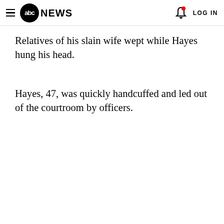abc NEWS  LOG IN
Relatives of his slain wife wept while Hayes hung his head.
Hayes, 47, was quickly handcuffed and led out of the courtroom by officers.